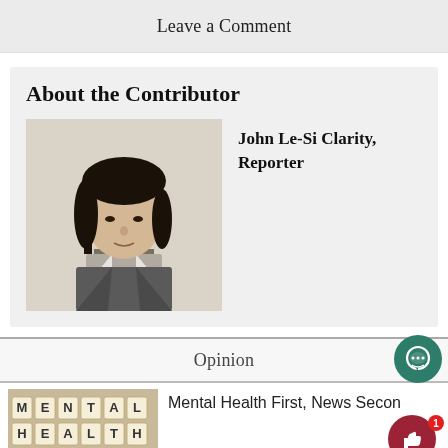Leave a Comment
About the Contributor
[Figure (photo): Headshot of John Le-Si Clarity, a young man with dark shoulder-length hair wearing a grey blazer and dark tie against a light background.]
John Le-Si Clarity, Reporter
Opinion
[Figure (photo): Scrabble tiles spelling out MENTAL and partial second row, arranged on wooden surface.]
Mental Health First, News Secon